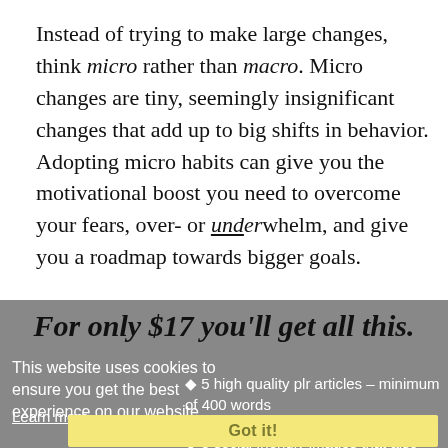Instead of trying to make large changes, think micro rather than macro. Micro changes are tiny, seemingly insignificant changes that add up to big shifts in behavior. Adopting micro habits can give you the motivational boost you need to overcome your fears, over- or underwhelm, and give you a roadmap towards bigger goals.
For only $17 you'll get all this.
This website uses cookies to ensure you get the best experience on our website.
Learn more
5 high quality plr articles – minimum of 400 words
Got it!
5 social friendly images that also work as blog post images